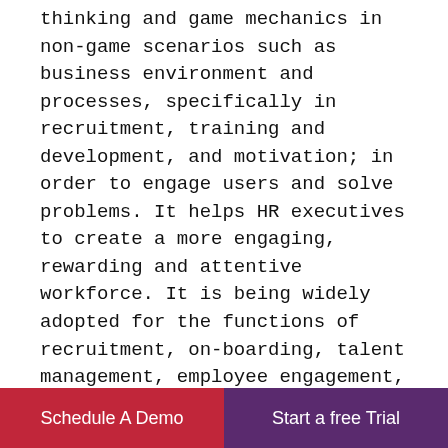thinking and game mechanics in non-game scenarios such as business environment and processes, specifically in recruitment, training and development, and motivation; in order to engage users and solve problems. It helps HR executives to create a more engaging, rewarding and attentive workforce. It is being widely adopted for the functions of recruitment, on-boarding, talent management, employee engagement, and process management. Also, it provides the data that can help the organization to get some insights into how employee work and what motivates them and the possibility of further innovation in this sector is immense.
Schedule A Demo | Start a free Trial